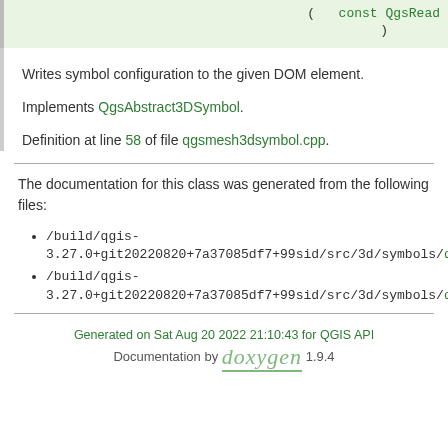| const QgsRead... |
| ) |
Writes symbol configuration to the given DOM element.
Implements QgsAbstract3DSymbol.
Definition at line 58 of file qgsmesh3dsymbol.cpp.
The documentation for this class was generated from the following files:
/build/qgis-3.27.0+git20220820+7a37085df7+99sid/src/3d/symbols/qg...
/build/qgis-3.27.0+git20220820+7a37085df7+99sid/src/3d/symbols/qg...
Generated on Sat Aug 20 2022 21:10:43 for QGIS API Documentation by doxygen 1.9.4